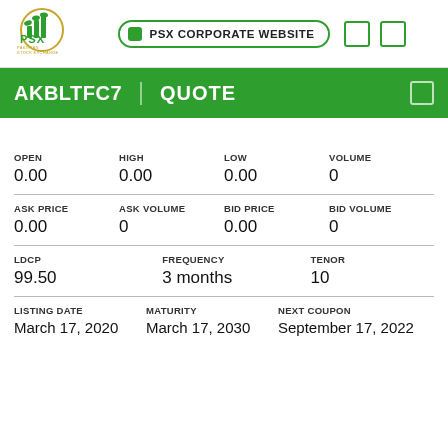[Figure (logo): PSX Pakistan Stock Exchange Limited logo with green bar chart icon]
PSX CORPORATE WEBSITE
AKBLTFC7 | QUOTE
| OPEN | HIGH | LOW | VOLUME |
| --- | --- | --- | --- |
| 0.00 | 0.00 | 0.00 | 0 |
| ASK PRICE | ASK VOLUME | BID PRICE | BID VOLUME |
| --- | --- | --- | --- |
| 0.00 | 0 | 0.00 | 0 |
| LDCP | FREQUENCY | TENOR |
| --- | --- | --- |
| 99.50 | 3 months | 10 |
| LISTING DATE | MATURITY | NEXT COUPON |
| --- | --- | --- |
| March 17, 2020 | March 17, 2030 | September 17, 2022 |